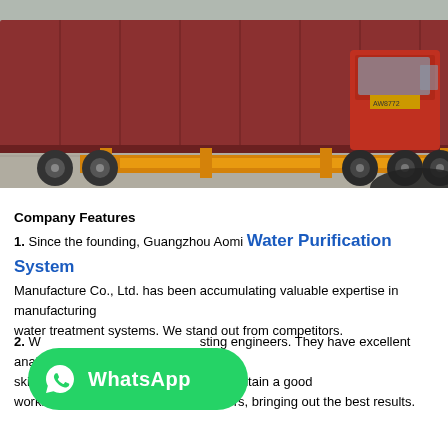[Figure (photo): A red shipping container on a flatbed truck with orange trailer frame, parked on a concrete lot. A red semi-truck cab is visible on the right side, with industrial buildings and blue containers in the background.]
Company Features
1. Since the founding, Guangzhou Aomi Water Purification System Manufacture Co., Ltd. has been accumulating valuable expertise in manufacturing water treatment systems. We stand out from competitors.
2. W...sting engineers. They have excellent analytical ski... decision-making ability to maintain a good working relationship with the developers, bringing out the best results.
[Figure (logo): WhatsApp green rounded pill badge with WhatsApp logo icon and text 'WhatsApp']